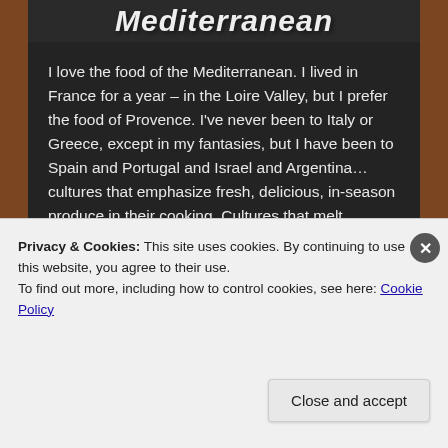Mediterranean
I love the food of the Mediterranean. I lived in France for a year – in the Loire Valley, but I prefer the food of Provence. I've never been to Italy or Greece, except in my fantasies, but I have been to Spain and Portugal and Israel and Argentina…cultures that emphasize fresh, delicious, in-season produce in their cooking. Cultures that melt tomatoes in olive oil, that brilliantly combine garlic and lemon parts to make miraculous, simple un-sauces, where perfect olives of infinite variety are tapas…
Privacy & Cookies: This site uses cookies. By continuing to use this website, you agree to their use.
To find out more, including how to control cookies, see here: Cookie Policy